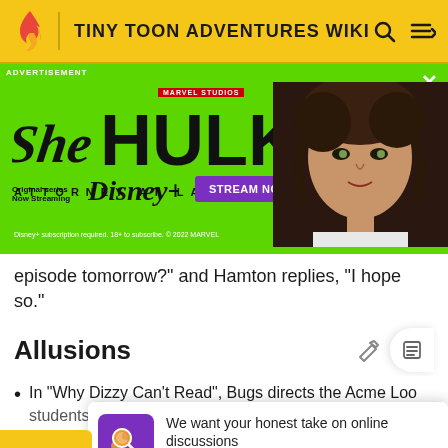TINY TOON ADVENTURES WIKI
[Figure (advertisement): She-Hulk Attorney at Law Marvel Studios Disney+ advertisement with green background and actress photo, Stream Now button]
episode tomorrow?" and Hamton replies, "I hope so."
Allusions
In "Why Dizzy Can't Read", Bugs directs the Acme Loo students in a reenactment of the cartoon "Devil May
T he
[Figure (infographic): Survey popup: We want your honest take on online discussions. SURVEY: ONLINE FORUMS]